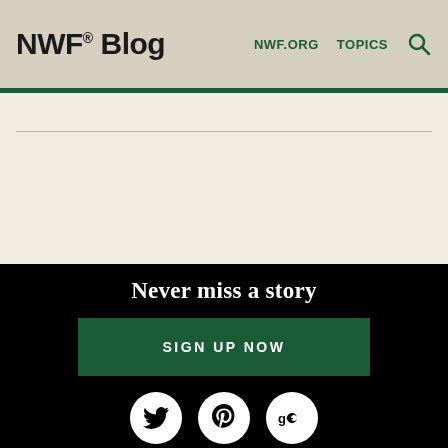NWF® Blog — NWF.ORG   TOPICS   🔍
Never miss a story
SIGN UP NOW
[Figure (other): Social media icons: Twitter, Pinterest, Google+, Facebook, YouTube, Flickr — white circles on black background]
ABOUT   AUTHORS   ARCHIVES   CONTACT US